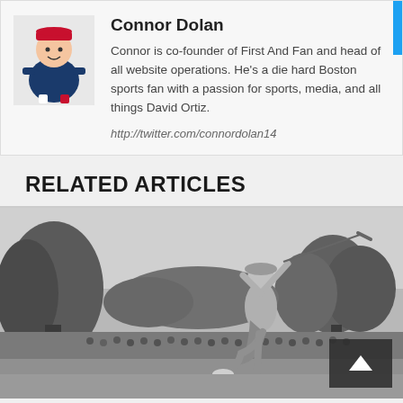[Figure (photo): Cartoon mascot of a New England Patriots football player crouching]
Connor Dolan
Connor is co-founder of First And Fan and head of all website operations. He's a die hard Boston sports fan with a passion for sports, media, and all things David Ortiz.
http://twitter.com/connordolan14
RELATED ARTICLES
[Figure (photo): Black and white vintage photograph of a woman swinging a golf club on a golf course, with a crowd of spectators in the background and trees visible.]